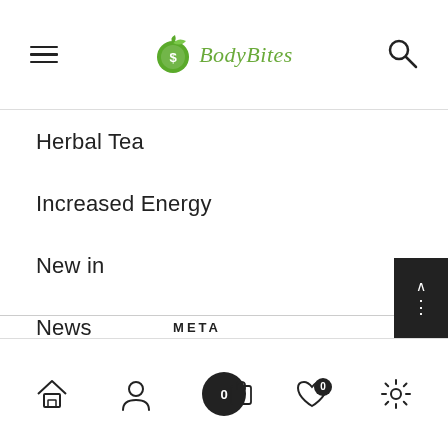BodyBites
Herbal Tea
Increased Energy
New in
News
Vindemia
Weight Loss
META
Home | Account | Cart (0) | Wishlist (0) | Settings